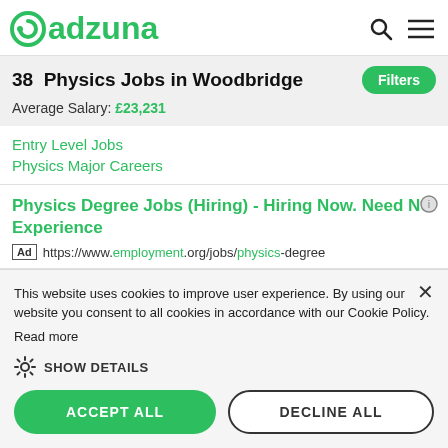[Figure (logo): Adzuna logo with green circular icon and green text 'adzuna']
38 Physics Jobs in Woodbridge
Average Salary: £23,231
Entry Level Jobs
Physics Major Careers
Physics Degree Jobs (Hiring) - Hiring Now. Need No Experience
Ad https://www.employment.org/jobs/physics-degree
This website uses cookies to improve user experience. By using our website you consent to all cookies in accordance with our Cookie Policy. Read more
SHOW DETAILS
ACCEPT ALL
DECLINE ALL